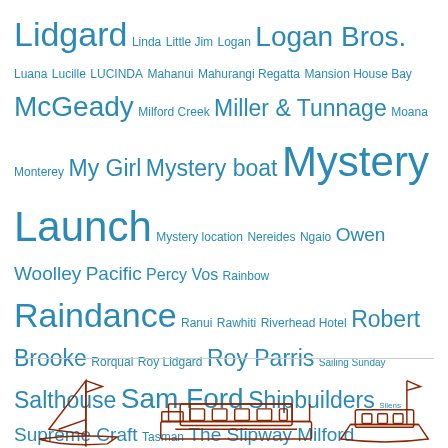Lidgard Linda Little Jim Logan Logan Bros. Luana Lucille LUCINDA Mahanui Mahurangi Regatta Mansion House Bay McGeady Milford Creek Miller & Tunnage Moana Monterey My Girl Mystery boat Mystery Launch Mystery location Nereides Ngaio Owen Woolley Pacific Percy Vos Rainbow Raindance Ranui Rawhiti Riverhead Hotel Robert Brooke Rorqual Roy Lidgard Roy Parris Sailing Sunday Salthouse Sam Ford Shipbuilders Silens Supreme Craft Tasman The Slipway Milford Trinidad Waiheke Island Waitangi Whangateau Traditional Boat Yard Wirihana Woody Classics Weekend
[Figure (illustration): Line drawings of three boats/vessels in a reddish-brown/terracotta color, partially visible at the bottom of the page]